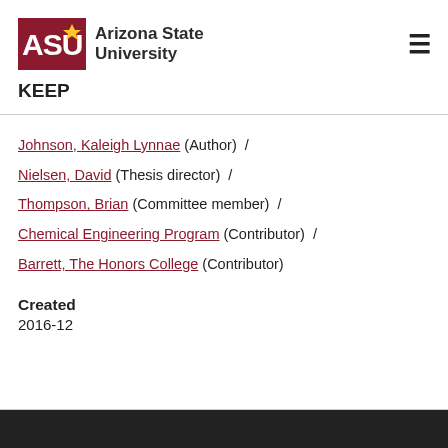Arizona State University — KEEP
Johnson, Kaleigh Lynnae (Author) / Nielsen, David (Thesis director) / Thompson, Brian (Committee member) / Chemical Engineering Program (Contributor) / Barrett, The Honors College (Contributor)
Created
2016-12